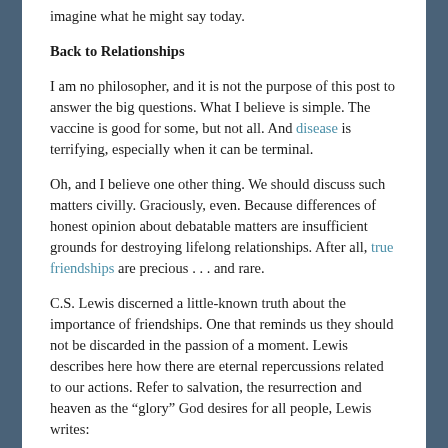imagine what he might say today.
Back to Relationships
I am no philosopher, and it is not the purpose of this post to answer the big questions. What I believe is simple. The vaccine is good for some, but not all. And disease is terrifying, especially when it can be terminal.
Oh, and I believe one other thing. We should discuss such matters civilly. Graciously, even. Because differences of honest opinion about debatable matters are insufficient grounds for destroying lifelong relationships. After all, true friendships are precious . . . and rare.
C.S. Lewis discerned a little-known truth about the importance of friendships. One that reminds us they should not be discarded in the passion of a moment. Lewis describes here how there are eternal repercussions related to our actions. Refer to salvation, the resurrection and heaven as the “glory” God desires for all people, Lewis writes: